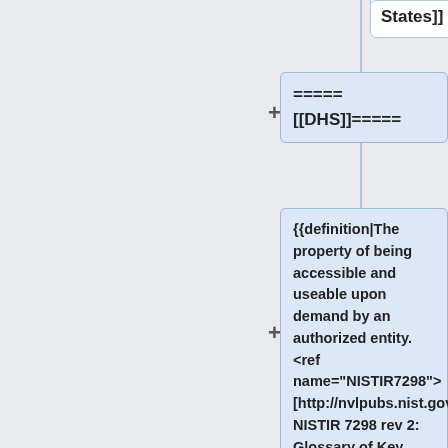States]] ====
States]] ====
====
[[DHS]]=====
{{definition|The property of being accessible and useable upon demand by an authorized entity. <ref name="NISTIR7298">
[http://nvlpubs.nist.gov/nistpubs/ir/2013/NIST.IR.7298r2.pdf NISTIR 7298 rev 2: Glossary of Key Information Security Terms, May 2013]